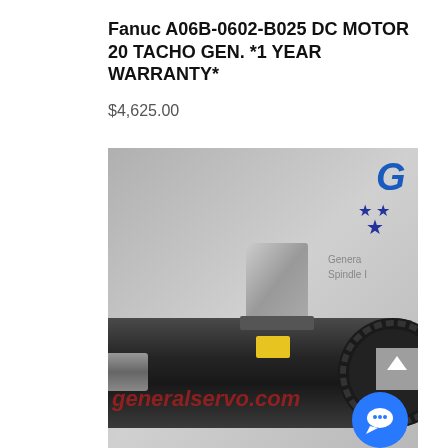Fanuc A06B-0602-B025 DC MOTOR 20 TACHO GEN. *1 YEAR WARRANTY*
$4,625.00
[Figure (photo): Photo of a Fanuc DC motor (A06B-0602-B025) shown close up with a cylindrical black motor body, metallic bracket on top, yellow label, gear end visible, watermark text 'generalservo.com' in red, and company logo with stars in upper right corner. A chat button and scroll-up button overlay the image.]